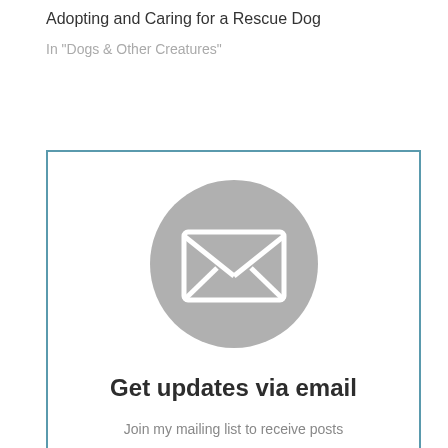Adopting and Caring for a Rescue Dog
In "Dogs & Other Creatures"
[Figure (illustration): Grey circle with white envelope/mail icon inside, representing email subscription widget]
Get updates via email
Join my mailing list to receive posts